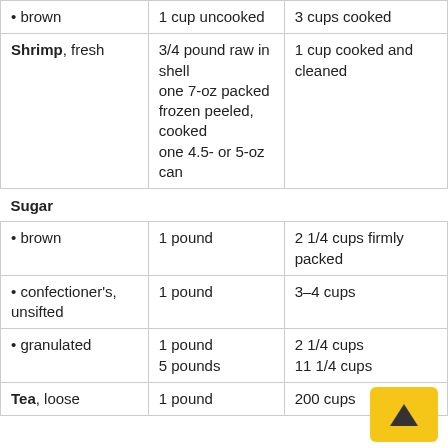| Food Item | Amount Before | Amount After |
| --- | --- | --- |
| • brown | 1 cup uncooked | 3 cups cooked |
| Shrimp, fresh | 3/4 pound raw in shell
one 7-oz packed frozen peeled, cooked
one 4.5- or 5-oz can | 1 cup cooked and cleaned |
| Sugar |  |  |
| • brown | 1 pound | 2 1/4 cups firmly packed |
| • confectioner's, unsifted | 1 pound | 3–4 cups |
| • granulated | 1 pound
5 pounds | 2 1/4 cups
11 1/4 cups |
| Tea, loose | 1 pound | 200 cups |